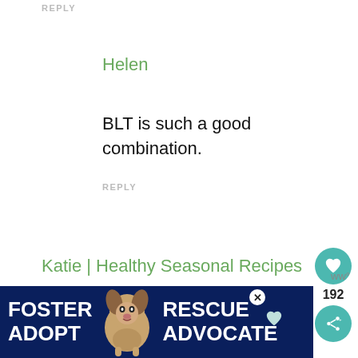REPLY
Helen
BLT is such a good combination.
REPLY
Katie | Healthy Seasonal Recipes
★★★★★
This looks delicious and easy to make! I lo...definitely
[Figure (other): Advertisement banner: dark blue background with white bold text reading FOSTER ADOPT on the left, a beagle dog photo in the center, and RESCUE ADVOCATE on the right, with a close button (X) and a heart icon overlay.]